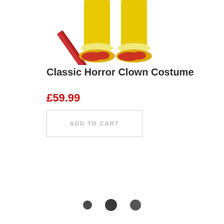[Figure (photo): Lower body of a person wearing a yellow horror clown costume with red clown shoes, holding a red machete or weapon diagonally. Only the legs, feet, and part of the weapon are visible — the upper body is cut off.]
Classic Horror Clown Costume
£59.99
ADD TO CART